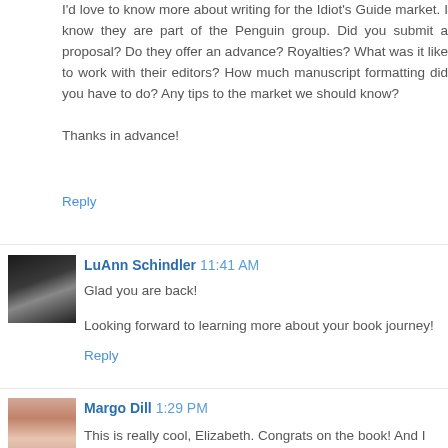I'd love to know more about writing for the Idiot's Guide market. I know they are part of the Penguin group. Did you submit a proposal? Do they offer an advance? Royalties? What was it like to work with their editors? How much manuscript formatting did you have to do? Any tips to the market we should know?
Thanks in advance!
Reply
LuAnn Schindler  11:41 AM
Glad you are back!
Looking forward to learning more about your book journey!
Reply
Margo Dill  1:29 PM
This is really cool, Elizabeth. Congrats on the book! And I was about to type many of the same questions as Angela--